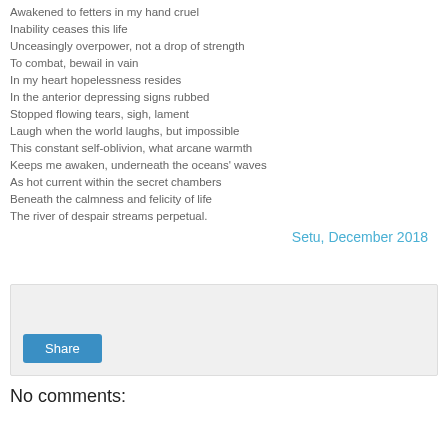Awakened to fetters in my hand cruel
Inability ceases this life
Unceasingly overpower, not a drop of strength
To combat, bewail in vain
In my heart hopelessness resides
In the anterior depressing signs rubbed
Stopped flowing tears, sigh, lament
Laugh when the world laughs, but impossible
This constant self-oblivion, what arcane warmth
Keeps me awaken, underneath the oceans' waves
As hot current within the secret chambers
Beneath the calmness and felicity of life
The river of despair streams perpetual.
Setu, December 2018
[Figure (screenshot): Share button widget area with light grey background]
No comments: